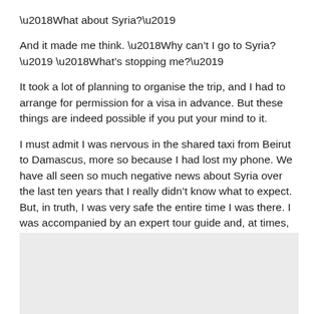‘What about Syria?’
And it made me think. ‘Why can’t I go to Syria?’ ‘What’s stopping me?’
It took a lot of planning to organise the trip, and I had to arrange for permission for a visa in advance. But these things are indeed possible if you put your mind to it.
I must admit I was nervous in the shared taxi from Beirut to Damascus, more so because I had lost my phone. We have all seen so much negative news about Syria over the last ten years that I really didn’t know what to expect. But, in truth, I was very safe the entire time I was there. I was accompanied by an expert tour guide and, at times, also a driver. We never left the government-controlled areas.
[Figure (photo): Gray image placeholder box at the bottom of the page]